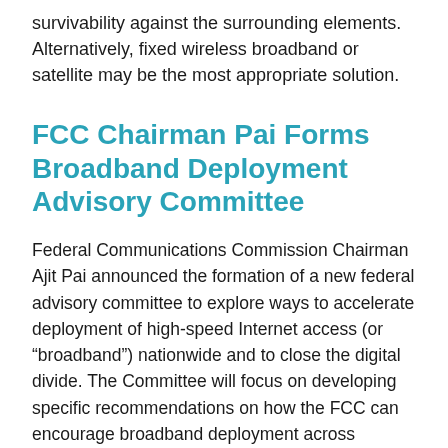survivability against the surrounding elements. Alternatively, fixed wireless broadband or satellite may be the most appropriate solution.
FCC Chairman Pai Forms Broadband Deployment Advisory Committee
Federal Communications Commission Chairman Ajit Pai announced the formation of a new federal advisory committee to explore ways to accelerate deployment of high-speed Internet access (or “broadband”) nationwide and to close the digital divide. The Committee will focus on developing specific recommendations on how the FCC can encourage broadband deployment across America.
“The BDAC’s mission will be to identify regulatory barriers to infrastructure investment and to make